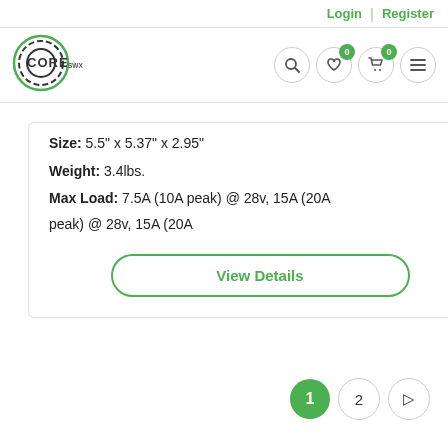Login | Register
[Figure (logo): Core SWX logo — circular gear/target icon with CORE SWX text]
Size: 5.5" x 5.37" x 2.95"
Weight: 3.4lbs.
Max Load: 7.5A (10A peak) @ 28v, 15A (20A
View Details
1 2 →